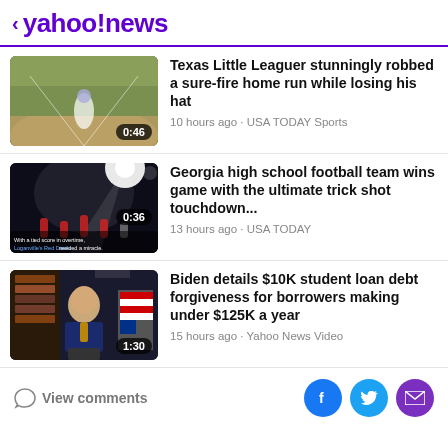< yahoo!news
[Figure (screenshot): Baseball field thumbnail with time badge 0:46]
Texas Little Leaguer stunningly robbed a sure-fire home run while losing his hat
10 hours ago · USA TODAY Sports
[Figure (screenshot): Night football game thumbnail with time badge 0:36 and caption text]
Georgia high school football team wins game with the ultimate trick shot touchdown...
13 hours ago · USA TODAY
[Figure (screenshot): Biden speaking at podium with American flag thumbnail with time badge 1:30]
Biden details $10K student loan debt forgiveness for borrowers making under $125K a year
15 hours ago · Yahoo News Video
View comments